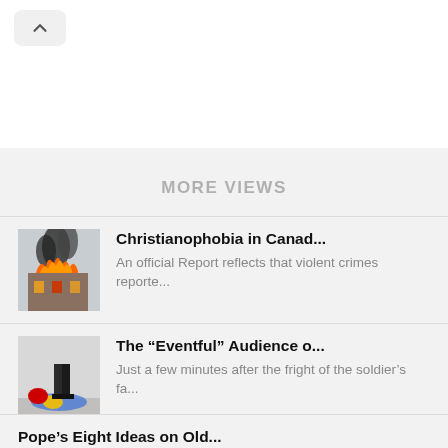[Figure (screenshot): Mobile browser back chevron button in top-left corner]
MORE VIEWS
Christianophobia in Canad... — An official Report reflects that violent crimes reporte...
The “Eventful” Audience o... — Just a few minutes after the fright of the soldier’s fa...
Pope’s Eight Ideas on Old... — “Let’s think of dialogue, of the alliance of the